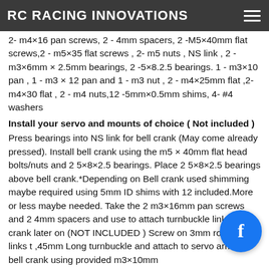RC RACING INNOVATIONS
2- m4×16 pan screws, 2 - 4mm spacers, 2 -M5×40mm flat screws,2 - m5×35 flat screws , 2- m5 nuts , NS link , 2 -m3×6mm × 2.5mm bearings, 2 -5×8.2.5 bearings. 1 - m3×10 pan , 1 - m3 × 12 pan and 1 - m3 nut , 2 - m4×25mm flat ,2-m4×30 flat , 2 - m4 nuts,12 -5mm×0.5mm shims, 4- #4 washers
Install your servo and mounts of choice ( Not included )
Press bearings into NS link for bell crank (May come already pressed). Install bell crank using the m5 × 40mm flat head bolts/nuts and 2 5×8×2.5 bearings. Place 2 5×8×2.5 bearings above bell crank.*Depending on Bell crank used shimming maybe required using 5mm ID shims with 12 included.More or less maybe needed. Take the 2 m3×16mm pan screws and 2 4mm spacers and use to attach turnbuckle link to bell crank later on (NOT INCLUDED ) Screw on 3mm rod end links t ,45mm Long turnbuckle and attach to servo arm and bell crank using provided m3×10mm